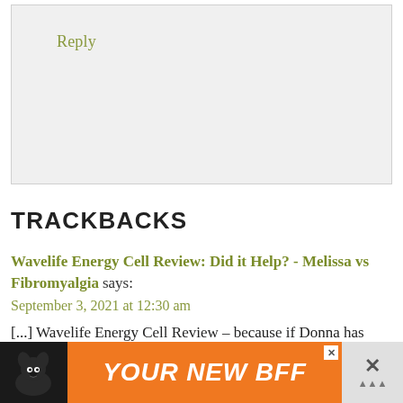Reply
TRACKBACKS
Wavelife Energy Cell Review: Did it Help? - Melissa vs Fibromyalgia says:
September 3, 2021 at 12:30 am
[...] Wavelife Energy Cell Review – because if Donna has written about something I want to read it [...]
[Figure (other): Advertisement banner showing a dog with text YOUR NEW BFF on orange background]